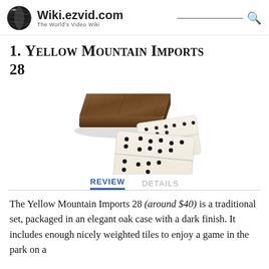Wiki.ezvid.com — The World's Video Wiki
1. Yellow Mountain Imports 28
[Figure (photo): Photo of a wooden domino box with dark finish and domino tiles fanned out in front of it on a white background.]
REVIEW   DETAILS
The Yellow Mountain Imports 28 (around $40) is a traditional set, packaged in an elegant oak case with a dark finish. It includes enough nicely weighted tiles to enjoy a game in the park on a